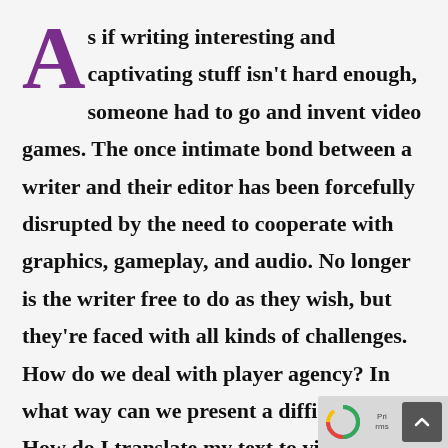As if writing interesting and captivating stuff isn't hard enough, someone had to go and invent video games. The once intimate bond between a writer and their editor has been forcefully disrupted by the need to cooperate with graphics, gameplay, and audio. No longer is the writer free to do as they wish, but they're faced with all kinds of challenges. How do we deal with player agency? In what way can we present a difficult topic? How do I translate my text to video games? How will I distract students in